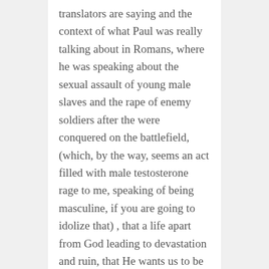translators are saying and the context of what Paul was really talking about in Romans, where he was speaking about the sexual assault of young male slaves and the rape of enemy soldiers after the were conquered on the battlefield, (which, by the way, seems an act filled with male testosterone rage to me, speaking of being masculine, if you are going to idolize that) , that a life apart from God leading to devastation and ruin, that He wants us to be close to Him and love one another, and not judge each other, which is also part of